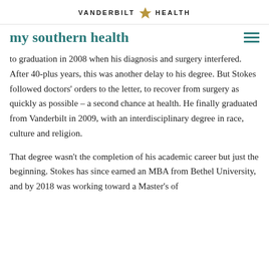VANDERBILT HEALTH
my southern health
to graduation in 2008 when his diagnosis and surgery interfered. After 40-plus years, this was another delay to his degree. But Stokes followed doctors' orders to the letter, to recover from surgery as quickly as possible – a second chance at health. He finally graduated from Vanderbilt in 2009, with an interdisciplinary degree in race, culture and religion.
That degree wasn't the completion of his academic career but just the beginning. Stokes has since earned an MBA from Bethel University, and by 2018 was working toward a Master's of